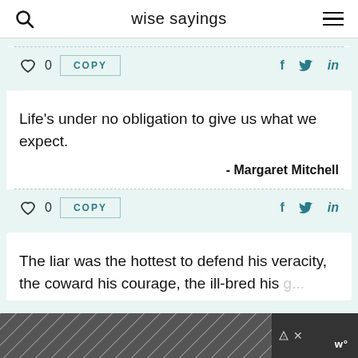wise sayings
Life's under no obligation to give us what we expect.
- Margaret Mitchell
0
COPY
The liar was the hottest to defend his veracity, the coward his courage, the ill-bred his gentleness...